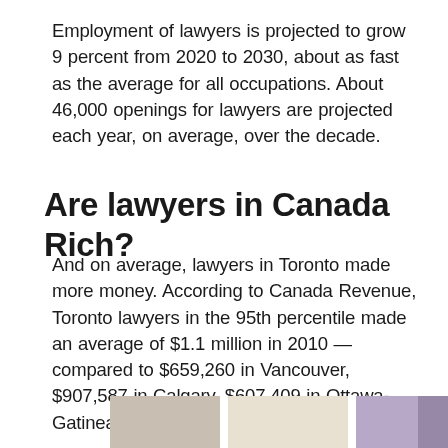Employment of lawyers is projected to grow 9 percent from 2020 to 2030, about as fast as the average for all occupations. About 46,000 openings for lawyers are projected each year, on average, over the decade.
Are lawyers in Canada Rich?
And on average, lawyers in Toronto made more money. According to Canada Revenue, Toronto lawyers in the 95th percentile made an average of $1.1 million in 2010 — compared to $659,260 in Vancouver, $907,587 in Calgary, $607,409 in Ottawa-Gatineau and $668,197 in Montreal.
[Figure (photo): Partial view of photos of lawyers or legal professionals at bottom of page]